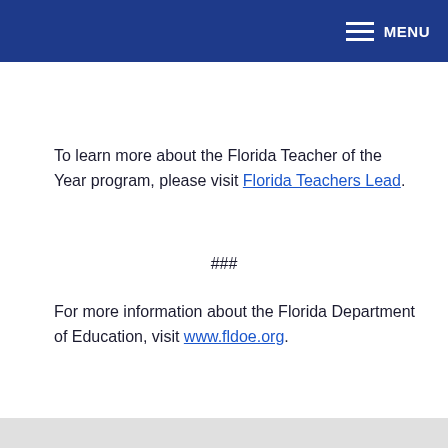MENU
To learn more about the Florida Teacher of the Year program, please visit Florida Teachers Lead.
###
For more information about the Florida Department of Education, visit www.fldoe.org.